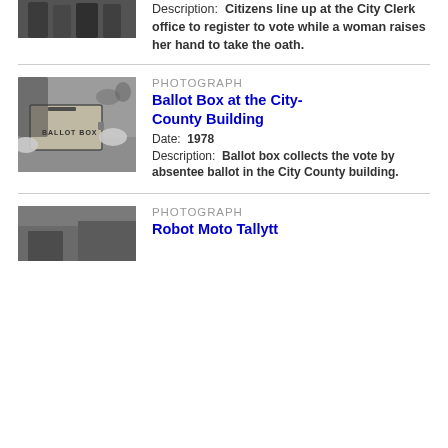[Figure (photo): Partial black and white photograph at top of page, cropped, showing a group of citizens]
Description: Citizens line up at the City Clerk office to register to vote while a woman raises her hand to take the oath.
[Figure (photo): Black and white photograph of a ballot box labeled 'BALLOT BOX' on a table with a woman in background.]
PHOTOGRAPH
Ballot Box at the City-County Building
Date: 1978
Description: Ballot box collects the vote by absentee ballot in the City County building.
[Figure (photo): Partial black and white photograph at bottom of page, partially visible.]
PHOTOGRAPH